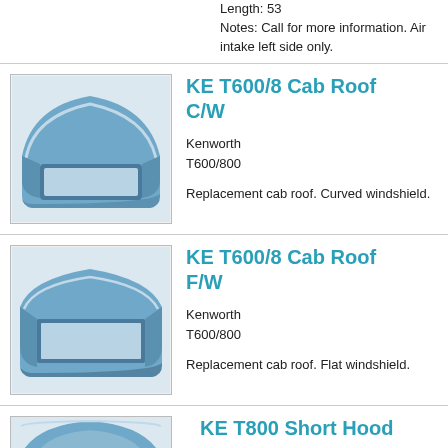Length: 53
Notes: Call for more information. Air intake left side only.
KE T600/8 Cab Roof C/W
Kenworth
T600/800
Replacement cab roof. Curved windshield.
[Figure (photo): Photo of KE T600/8 Cab Roof C/W - a blue curved cab roof for Kenworth T600/800]
KE T600/8 Cab Roof F/W
Kenworth
T600/800
Replacement cab roof. Flat windshield.
[Figure (photo): Photo of KE T600/8 Cab Roof F/W - a blue flat cab roof for Kenworth T600/800]
KE T800 Short Hood
[Figure (photo): Photo of KE T800 Short Hood - partial view of a blue hood]